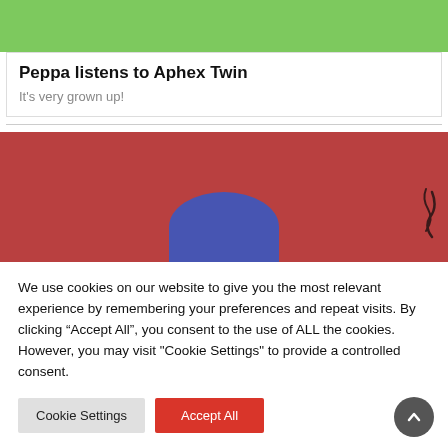[Figure (illustration): Green banner at top of page, partially cropped, showing colorful illustrated content]
Peppa listens to Aphex Twin
It's very grown up!
[Figure (illustration): Red background image with a blue semi-circular blob in the center bottom and a small squiggle on the right]
We use cookies on our website to give you the most relevant experience by remembering your preferences and repeat visits. By clicking “Accept All”, you consent to the use of ALL the cookies. However, you may visit "Cookie Settings" to provide a controlled consent.